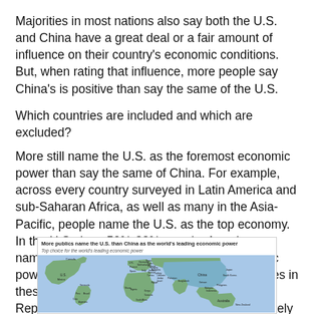Majorities in most nations also say both the U.S. and China have a great deal or a fair amount of influence on their country's economic conditions. But, when rating that influence, more people say China's is positive than say the same of the U.S.
Which countries are included and which are excluded?
More still name the U.S. as the foremost economic power than say the same of China. For example, across every country surveyed in Latin America and sub-Saharan Africa, as well as many in the Asia-Pacific, people name the U.S. as the top economy. In the U.S., by a 50%-32% margin, Americans name their own country as the leading economic power, though there are stark partisan differences in these evaluations, with Republicans and Republican-leaning independents being more likely to name the U.S. than
[Figure (map): World map titled 'More publics name the U.S. than China as the world's leading economic power' showing top choice for the world's leading economic power by country, with countries colored to indicate U.S. or China preference.]